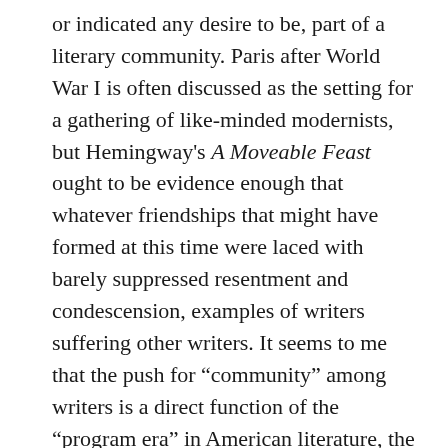or indicated any desire to be, part of a literary community. Paris after World War I is often discussed as the setting for a gathering of like-minded modernists, but Hemingway's A Moveable Feast ought to be evidence enough that whatever friendships that might have formed at this time were laced with barely suppressed resentment and condescension, examples of writers suffering other writers. It seems to me that the push for “community” among writers is a direct function of the “program era” in American literature, the relocation of literary life to the academy, where it is administered in creative writing programs, where other writers are indeed colleagues, and where the wheels driving publication and recognition are greased by the spread of literary magazines sponsored by creative writing programs themselves and the substitution of tenure for commercial success. Under these circumstances, it becomes much easier to think of other writers as fellow members of a community (the community of creative